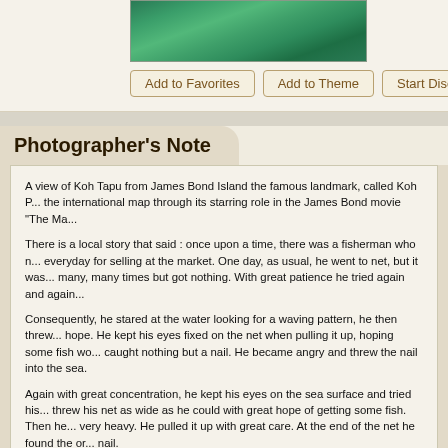[Figure (photo): Green water/sea surface photo strip at top of page]
Add to Favorites   Add to Theme   Start Discuss...
Photographer's Note
A view of Koh Tapu from James Bond Island the famous landmark, called Koh P... the international map through its starring role in the James Bond movie "The Ma...
There is a local story that said : once upon a time, there was a fisherman who n... everyday for selling at the market. One day, as usual, he went to net, but it was... many, many times but got nothing. With great patience he tried again and again...
Consequently, he stared at the water looking for a waving pattern, he then threw... hope. He kept his eyes fixed on the net when pulling it up, hoping some fish wo... caught nothing but a nail. He became angry and threw the nail into the sea.
Again with great concentration, he kept his eyes on the sea surface and tried his... threw his net as wide as he could with great hope of getting some fish. Then he... very heavy. He pulled it up with great care. At the end of the net he found the or... nail.
He was so angry, he grasped his long knife and cut the nail with all his strength... nail was catapulted away and driven into the buttom of the sea standing up as y...